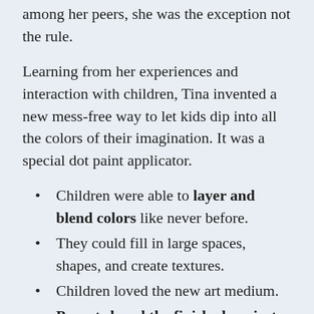among her peers, she was the exception not the rule.
Learning from her experiences and interaction with children, Tina invented a new mess-free way to let kids dip into all the colors of their imagination. It was a special dot paint applicator.
Children were able to layer and blend colors like never before.
They could fill in large spaces, shapes, and create textures.
Children loved the new art medium.
Parents loved the finished projects.
Teachers loved the easy setup and cleanup.
The businesswoman in her recognized the potential in this product and along with her husband Rob; they went on to build a high quality art medium